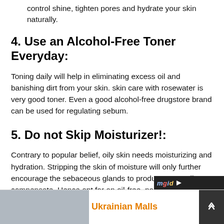control shine, tighten pores and hydrate your skin naturally.
4. Use an Alcohol-Free Toner Everyday:
Toning daily will help in eliminating excess oil and banishing dirt from your skin. skin care with rosewater is very good toner. Even a good alcohol-free drugstore brand can be used for regulating sebum.
5. Do not Skip Moisturizer!:
Contrary to popular belief, oily skin needs moisturizing and hydration. Stripping the skin of moisture will only further encourage the sebaceous glands to produce more oil to compensate. Hence opt for an oil-free, non-comedogenic, water-based moisturizer.
Ukrainian Malls